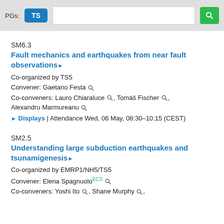PGs: TS [search box] [search button]
SM6.3
Fault mechanics and earthquakes from near fault observations▸
Co-organized by TS5
Convener: Gaetano Festa 🔍
Co-conveners: Lauro Chiaraluce 🔍, Tomáš Fischer 🔍, Alexandru Marmureanu 🔍
▸ Displays | Attendance Wed, 06 May, 08:30–10:15 (CEST)
SM2.5
Understanding large subduction earthquakes and tsunamigenesis▸
Co-organized by EMRP1/NH5/TS5
Convener: Elena SpagnuoloECS 🔍
Co-conveners: Yoshi Ito 🔍, Shane Murphy 🔍,